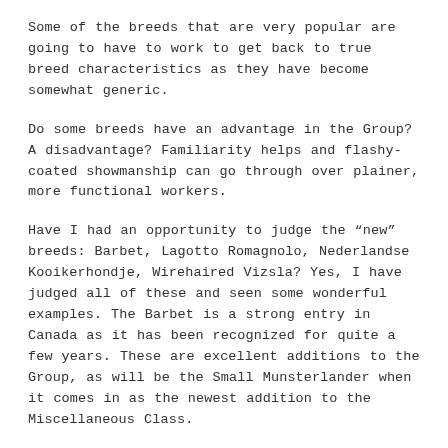Some of the breeds that are very popular are going to have to work to get back to true breed characteristics as they have become somewhat generic.
Do some breeds have an advantage in the Group? A disadvantage? Familiarity helps and flashy-coated showmanship can go through over plainer, more functional workers.
Have I had an opportunity to judge the “new” breeds: Barbet, Lagotto Romagnolo, Nederlandse Kooikerhondje, Wirehaired Vizsla? Yes, I have judged all of these and seen some wonderful examples. The Barbet is a strong entry in Canada as it has been recognized for quite a few years. These are excellent additions to the Group, as will be the Small Munsterlander when it comes in as the newest addition to the Miscellaneous Class.
Which Sporting dogs from the past have had the greatest impact on their breeds, the Group, and the Sport? This would require a book to answer: Dunelm Galaxy English